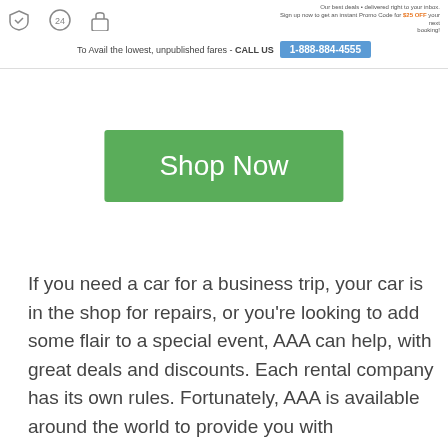[Figure (screenshot): Top of a travel/deals website showing icons (shield checkmark, 24-hour service, lock), a right-side promo text about best deals and promo code for $25 OFF, and a call-to-action banner: 'To Avail the lowest, unpublished fares - CALL US 1-888-884-4555']
[Figure (screenshot): Green 'Shop Now' button centered on a white background]
If you need a car for a business trip, your car is in the shop for repairs, or you're looking to add some flair to a special event, AAA can help, with great deals and discounts. Each rental company has its own rules. Fortunately, AAA is available around the world to provide you with professional assistance and knowledgeable support.
Aaa.com car rental discounts.
Let AAA be your first destination when you're planning a